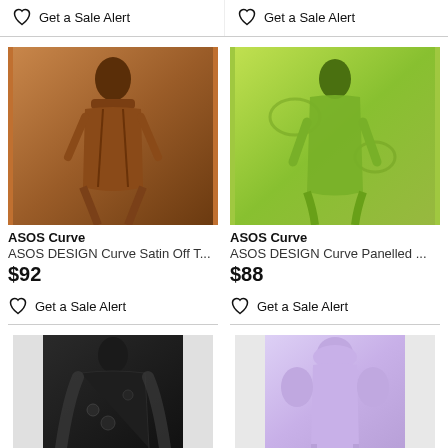Get a Sale Alert
Get a Sale Alert
[Figure (photo): ASOS Curve model wearing a brown satin off-shoulder midi dress]
ASOS Curve
ASOS DESIGN Curve Satin Off T...
$92
Get a Sale Alert
[Figure (photo): ASOS Curve model wearing a green paisley print midi dress]
ASOS Curve
ASOS DESIGN Curve Panelled ...
$88
Get a Sale Alert
[Figure (photo): ASOS Curve model wearing a black embroidered maxi dress]
[Figure (photo): ASOS Curve model wearing a lavender puff sleeve midi dress]